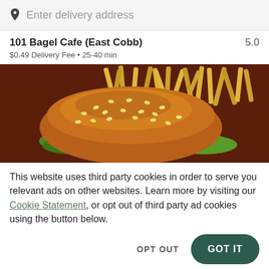Enter delivery address
101 Bagel Cafe (East Cobb)
$0.49 Delivery Fee • 25-40 min
5.0
[Figure (photo): A sesame seed burger bun sandwich with lettuce visible, served alongside a pile of golden french fries on a dark brown background.]
This website uses third party cookies in order to serve you relevant ads on other websites. Learn more by visiting our Cookie Statement, or opt out of third party ad cookies using the button below.
OPT OUT
GOT IT